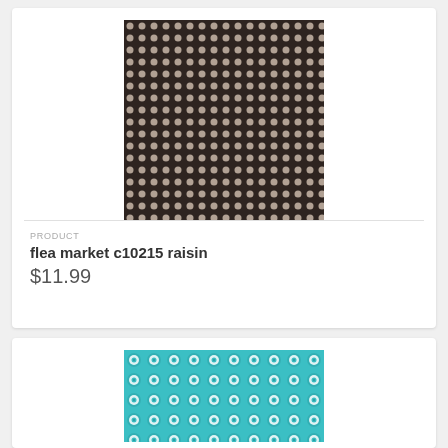[Figure (photo): Dark brown fabric with evenly-spaced cream/beige polka dots pattern]
PRODUCT
flea market c10215 raisin
$11.99
[Figure (photo): Turquoise/teal fabric with repeating floral/daisy pattern in teal and white]